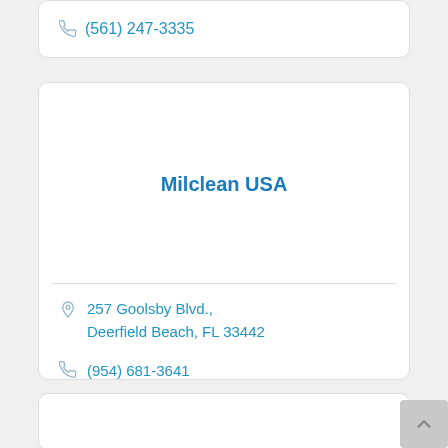(561) 247-3335
Milclean USA
257 Goolsby Blvd., Deerfield Beach, FL 33442
(954) 681-3641